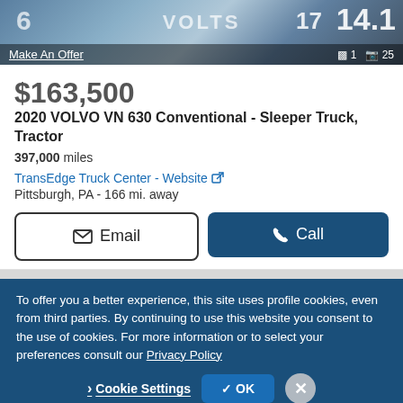[Figure (screenshot): Truck listing banner image showing a truck cab interior/exterior with VOLTS text overlay, numbers 17 and 14.1, and a 'Make An Offer' link with icons showing 1 video and 25 photos]
$163,500
2020 VOLVO VN 630 Conventional - Sleeper Truck, Tractor
397,000 miles
TransEdge Truck Center - Website
Pittsburgh, PA - 166 mi. away
Email   Call
Video chat with this dealer
To offer you a better experience, this site uses profile cookies, even from third parties. By continuing to use this website you consent to the use of cookies. For more information or to select your preferences consult our Privacy Policy
Cookie Settings   OK